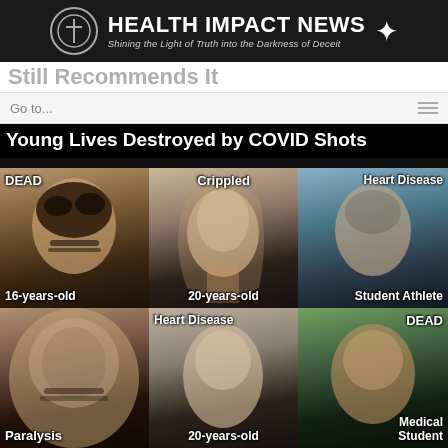[Figure (logo): Health Impact News logo with cross icon and star, black background, subtitle: Shining the Light of Truth into the Darkness of Deceit]
Still Recommends It
Go to...
[Figure (infographic): Young Lives Destroyed by COVID Shots - collage of 6 young people's photos with labels: DEAD (16-years-old), Crippled (20-years-old), Heart Disease (Student Athlete), Paralysis, Heart Disease (20-years-old), DEAD (Medical Student)]